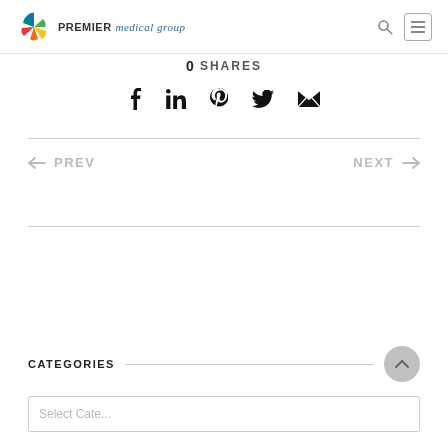PREMIER medical group
0 SHARES
[Figure (infographic): Social sharing icons: Facebook, LinkedIn, Pinterest, Twitter, Email]
← PREV
NEXT →
CATEGORIES
Select Category